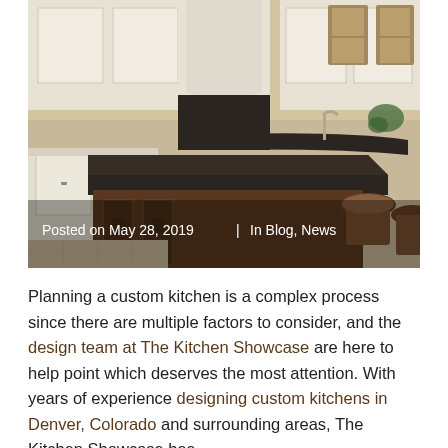[Figure (photo): Photograph of a luxury custom kitchen with white upper cabinets, dark granite countertops, a large kitchen island with dark wood base and decorative carved details, bar stools, and windows in the background. Overlay text reads: Posted on May 28, 2019 | In Blog, News]
Planning a custom kitchen is a complex process since there are multiple factors to consider, and the design team at The Kitchen Showcase are here to help point which deserves the most attention. With years of experience designing custom kitchens in Denver, Colorado and surrounding areas, The Kitchen Showcase has